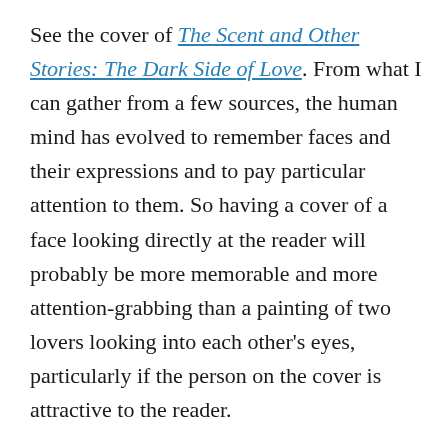See the cover of The Scent and Other Stories: The Dark Side of Love. From what I can gather from a few sources, the human mind has evolved to remember faces and their expressions and to pay particular attention to them. So having a cover of a face looking directly at the reader will probably be more memorable and more attention-grabbing than a painting of two lovers looking into each other’s eyes, particularly if the person on the cover is attractive to the reader.
This is what I find interesting about this ad:
Its bright, single color, pink, that is often associated with femininity overwhelms the